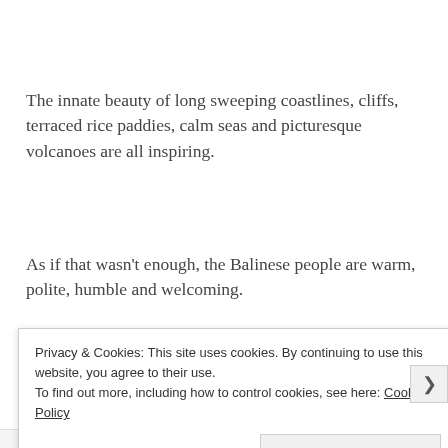The innate beauty of long sweeping coastlines, cliffs, terraced rice paddies, calm seas and picturesque volcanoes are all inspiring.
As if that wasn't enough, the Balinese people are warm, polite, humble and welcoming.
Privacy & Cookies: This site uses cookies. By continuing to use this website, you agree to their use.
To find out more, including how to control cookies, see here: Cookie Policy
Close and accept